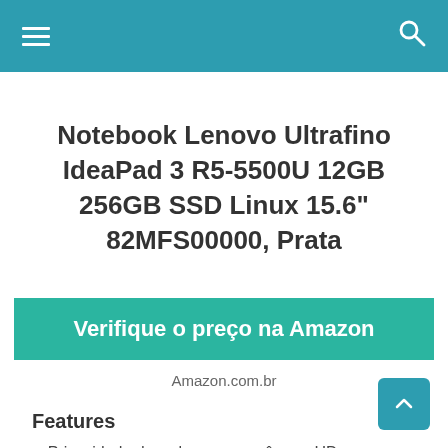≡  🔍
Notebook Lenovo Ultrafino IdeaPad 3 R5-5500U 12GB 256GB SSD Linux 15.6" 82MFS00000, Prata
Verifique o preço na Amazon
Amazon.com.br
Features
Privacidade de webcam com câmera HD - 720p